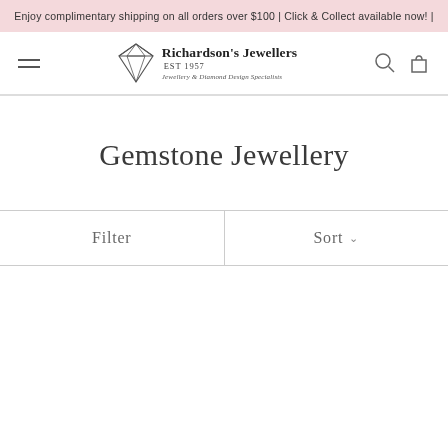Enjoy complimentary shipping on all orders over $100 | Click & Collect available now! |
[Figure (logo): Richardson's Jewellers logo with diamond icon, EST 1957, Jewellery & Diamond Design Specialists]
Gemstone Jewellery
Filter
Sort